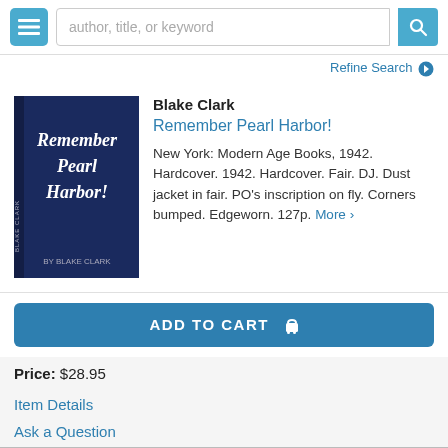author, title, or keyword
Refine Search
Blake Clark
Remember Pearl Harbor!
New York: Modern Age Books, 1942. Hardcover. 1942. Hardcover. Fair. DJ. Dust jacket in fair. PO's inscription on fly. Corners bumped. Edgeworn. 127p. More >
[Figure (photo): Book cover photo: Remember Pearl Harbor! by Blake Clark, dark navy blue hardcover book standing upright]
ADD TO CART
Price: $28.95
Item Details
Ask a Question